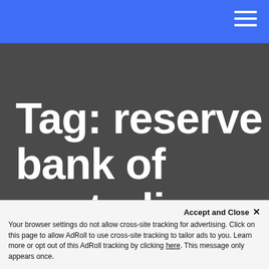[Figure (screenshot): Blue navigation header bar with white hamburger menu icon (three horizontal lines) in the top right corner]
Tag: reserve bank of australia
Accept and Close ✕
Your browser settings do not allow cross-site tracking for advertising. Click on this page to allow AdRoll to use cross-site tracking to tailor ads to you. Learn more or opt out of this AdRoll tracking by clicking here. This message only appears once.